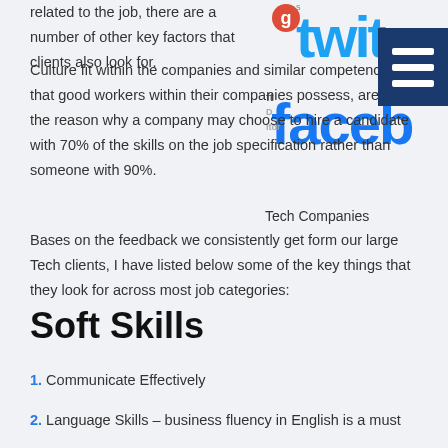related to the job, there are a number of other key factors that clients also look for.
[Figure (illustration): Collage of social media logos including Twitter and Facebook, with a dark blue navigation menu icon overlay. Caption reads 'Tech Companies'.]
Tech Companies
Culture fit within the companies and similar competencies that good workers within their companies possess, are often the reason why a company may choose to hire a candidate with 70% of the skills on the job specification rather than someone with 90%.
Bases on the feedback we consistently get form our large Tech clients, I have listed below some of the key things that they look for across most job categories:
Soft Skills
1. Communicate Effectively
2. Language Skills – business fluency in English is a must